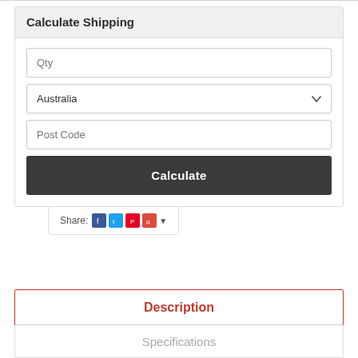Calculate Shipping
Qty
Australia
Post Code
Calculate
Share:
Description
Specifications